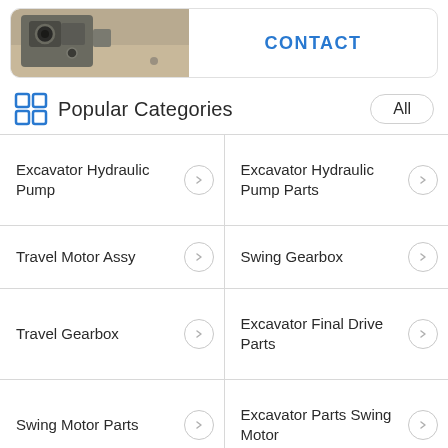[Figure (photo): Photograph of excavator hydraulic pump parts on a wooden surface]
CONTACT
Popular Categories
Excavator Hydraulic Pump
Excavator Hydraulic Pump Parts
Travel Motor Assy
Swing Gearbox
Travel Gearbox
Excavator Final Drive Parts
Swing Motor Parts
Excavator Parts Swing Motor